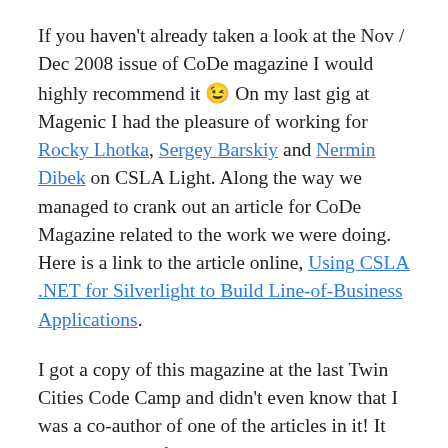If you haven't already taken a look at the Nov / Dec 2008 issue of CoDe magazine I would highly recommend it 😉 On my last gig at Magenic I had the pleasure of working for Rocky Lhotka, Sergey Barskiy and Nermin Dibek on CSLA Light. Along the way we managed to crank out an article for CoDe Magazine related to the work we were doing. Here is a link to the article online, Using CSLA .NET for Silverlight to Build Line-of-Business Applications.
I got a copy of this magazine at the last Twin Cities Code Camp and didn't even know that I was a co-author of one of the articles in it! It wasn't until the following monday that a